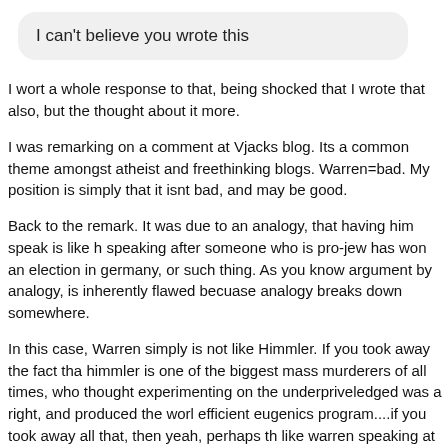I can't believe you wrote this
I wort a whole response to that, being shocked that I wrote that also, but the thought about it more.
I was remarking on a comment at Vjacks blog. Its a common theme amongst atheist and freethinking blogs. Warren=bad. My position is simply that it isnt bad, and may be good.
Back to the remark. It was due to an analogy, that having him speak is like h speaking after someone who is pro-jew has won an election in germany, or such thing. As you know argument by analogy, is inherently flawed becuase analogy breaks down somewhere.
In this case, Warren simply is not like Himmler. If you took away the fact tha himmler is one of the biggest mass murderers of all times, who thought experimenting on the underpriveledged was a right, and produced the worl efficient eugenics program....if you took away all that, then yeah, perhaps th like warren speaking at this invocation.
Warren simply is not as bad as Himmler. He is dead wrong on lots of things, having him speak at this is not like having Himmler speak. Warren is not responsible for the death of millions of gays, he has not sought a plan to exterminate gays, etc etc